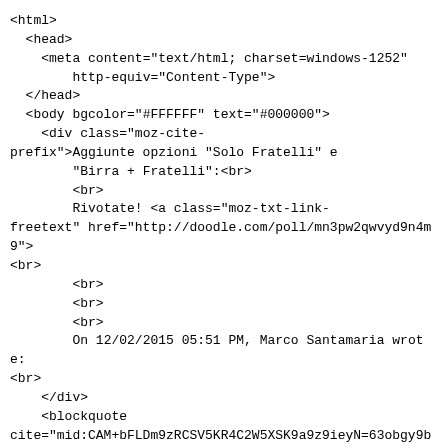<html>
  <head>
    <meta content="text/html; charset=windows-1252"
        http-equiv="Content-Type">
  </head>
  <body bgcolor="#FFFFFF" text="#000000">
    <div class="moz-cite-
prefix">Aggiunte opzioni "Solo Fratelli" e
        "Birra + Fratelli":<br>
        <br>
        Rivotate! <a class="moz-txt-link-
freetext" href="http://doodle.com/poll/mn3pw2qwvyd9n4m9">
<br>
        <br>
        <br>
        <br>
        On 12/02/2015 05:51 PM, Marco Santamaria wrote:
<br>
    </div>
    <blockquote
cite="mid:CAM+bFLDm9zRCSV5KR4C2W5XSK9a9z9ieyN=63obgy9bGFB
        type="cite">
      <div dir="ltr">
        <div>
          <div>Un po'  in ritardo, ma volevo aggiungere u
              lontana dalle altre due: Pizzeria I Fratelli,
                class="">Via degli Umbri, 14<br>
                <br>
              </span></div>
              <span class="">Ciao <br>